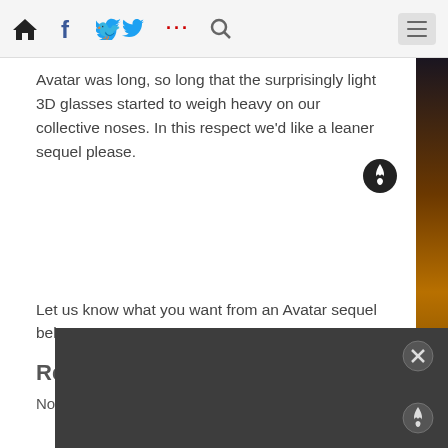Navigation bar with home, facebook, twitter, more, search icons and hamburger menu
Avatar was long, so long that the surprisingly light 3D glasses started to weigh heavy on our collective noses. In this respect we'd like a leaner sequel please.
Let us know what you want from an Avatar sequel below
Re
No